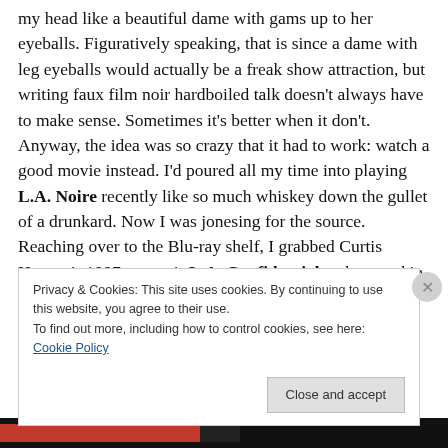my head like a beautiful dame with gams up to her eyeballs. Figuratively speaking, that is since a dame with leg eyeballs would actually be a freak show attraction, but writing faux film noir hardboiled talk doesn't always have to make sense. Sometimes it's better when it don't. Anyway, the idea was so crazy that it had to work: watch a good movie instead. I'd poured all my time into playing L.A. Noire recently like so much whiskey down the gullet of a drunkard. Now I was jonesing for the source. Reaching over to the Blu-ray shelf, I grabbed Curtis Hanson's 1997 neo-noir L.A. Confidential and popped in
Privacy & Cookies: This site uses cookies. By continuing to use this website, you agree to their use.
To find out more, including how to control cookies, see here: Cookie Policy
Close and accept